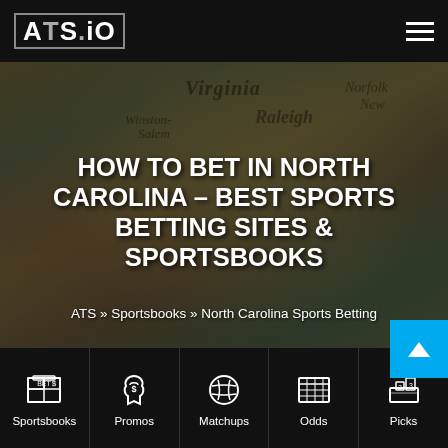ATS.IO
[Figure (photo): A map showing North Carolina and surrounding states including Virginia, with cities Winston-Salem, Raleigh, and Norfolk labeled. The image is darkened with an overlay.]
HOW TO BET IN NORTH CAROLINA – BEST SPORTS BETTING SITES & SPORTSBOOKS
ATS » Sportsbooks » North Carolina Sports Betting
Sometimes getting a foot in the door is the most important
Sportsbooks | Promos | Matchups | Odds | Picks